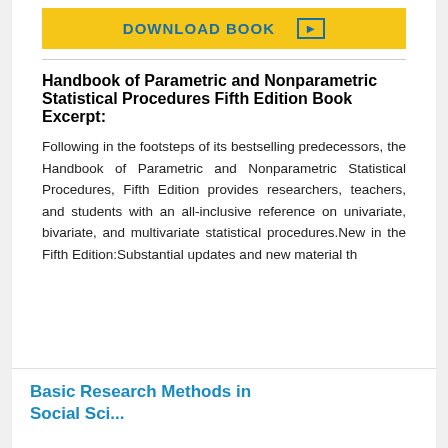[Figure (other): Yellow download button with text DOWNLOAD BOOK and a right-arrow icon]
Handbook of Parametric and Nonparametric Statistical Procedures Fifth Edition Book Excerpt:
Following in the footsteps of its bestselling predecessors, the Handbook of Parametric and Nonparametric Statistical Procedures, Fifth Edition provides researchers, teachers, and students with an all-inclusive reference on univariate, bivariate, and multivariate statistical procedures.New in the Fifth Edition:Substantial updates and new material th
Basic Research Methods in Social Sci...